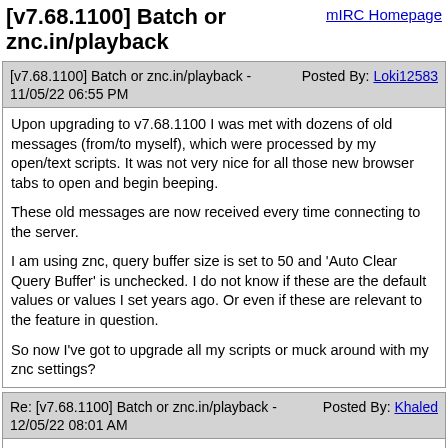[v7.68.1100] Batch or znc.in/playback
mIRC Homepage
[v7.68.1100] Batch or znc.in/playback - 11/05/22 06:55 PM
Posted By: Loki12583
Upon upgrading to v7.68.1100 I was met with dozens of old messages (from/to myself), which were processed by my open/text scripts. It was not very nice for all those new browser tabs to open and begin beeping.

These old messages are now received every time connecting to the server.

I am using znc, query buffer size is set to 50 and 'Auto Clear Query Buffer' is unchecked. I do not know if these are the default values or values I set years ago. Or even if these are relevant to the feature in question.

So now I've got to upgrade all my scripts or muck around with my znc settings?
Re: [v7.68.1100] Batch or znc.in/playback - 12/05/22 08:01 AM
Posted By: Khaled
Thanks for your bug report. I am afraid I have little experience with ZNC, so I cannot say why this would happen. The beta has simply added support for IRCv3 echo-message. The support for echo-message is an IRCv3 server-side setting that causes the server to echo messages back to confirm delivery of sent messages.

From what I understand, it can also be used to replace the ZNC self-